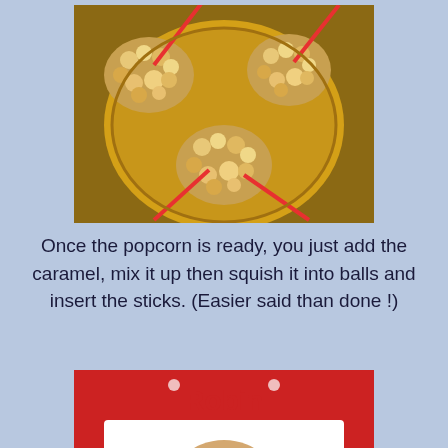[Figure (photo): Photo of caramel popcorn balls on a yellow plate with red sticks inserted into them, viewed from above on a wooden table.]
Once the popcorn is ready, you just add the caramel, mix it up then squish it into balls and insert the sticks. (Easier said than done !)
[Figure (photo): Close-up photo of a cookie or baked item decorated to look like a robin bird with orange/red sprinkles, with a card labeled 'Robin' in red text on a red and white polka dot background.]